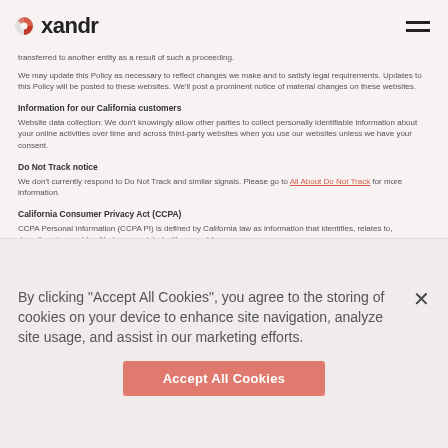xandr
transferred to another entity as a result of such a proceeding.
We may update this Policy as necessary to reflect changes we make and to satisfy legal requirements. Updates to this Policy will be posted to these websites. We'll post a prominent notice of material changes on these websites.
Information for our California customers
Website data collection: We don't knowingly allow other parties to collect personally identifiable information about your online activities over time and across third-party websites when you use our websites unless we have your consent.
Do Not Track notice
We don't currently respond to Do Not Track and similar signals. Please go to All About Do Not Track for more information.
California Consumer Privacy Act (CCPA)
CCPA Personal Information (CCPA PI) is defined by California law as information that identifies, relates to, describes, is capable of being associated with, or could
By clicking "Accept All Cookies", you agree to the storing of cookies on your device to enhance site navigation, analyze site usage, and assist in our marketing efforts.